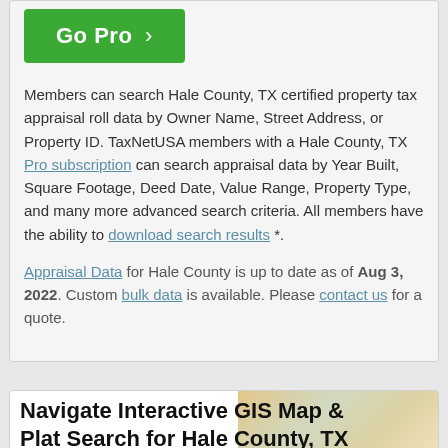[Figure (other): Green Go Pro button with arrow]
Members can search Hale County, TX certified property tax appraisal roll data by Owner Name, Street Address, or Property ID. TaxNetUSA members with a Hale County, TX Pro subscription can search appraisal data by Year Built, Square Footage, Deed Date, Value Range, Property Type, and many more advanced search criteria. All members have the ability to download search results *.
Appraisal Data for Hale County is up to date as of Aug 3, 2022. Custom bulk data is available. Please contact us for a quote.
Navigate Interactive GIS Map & Plat Search for Hale County, TX